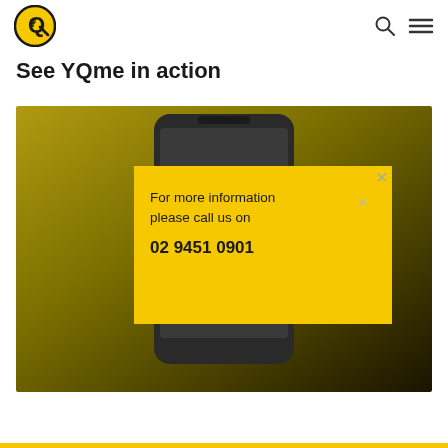YQme logo, search icon, menu icon
See YQme in action
[Figure (screenshot): Screenshot of a smartphone app interface with a dark olive/gold gradient background, showing a mobile phone with app content. A yellow popup overlay reads 'For more information please call us on 02 9451 0901' with two X close buttons visible.]